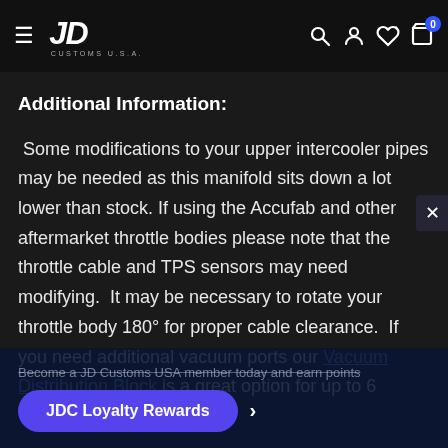JD Customs U.S.A. — Navigation header with logo, search, account, wishlist, cart (0)
Additional Information:
Some modifications to your upper intercooler pipes may be needed as this manifold sits down a lot lower than stock. If using the Accufab and other aftermarket throttle bodies please note that the throttle cable and TPS sensors may need modifying.  It may be necessary to rotate your throttle body 180° for proper cable clearance.  If you need additional vacuum ports our Vacuum Distribution Block is a great option for up to 6
Become a JD Customs USA member today and earn points
JDC Loyalty Rewards